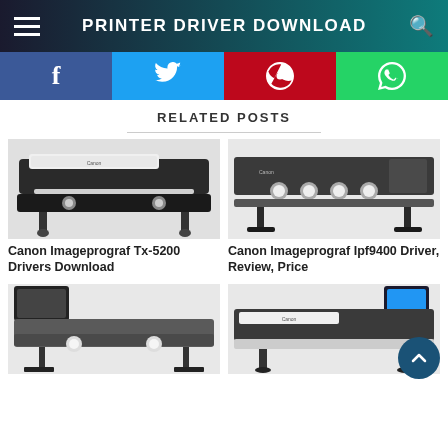PRINTER DRIVER DOWNLOAD
[Figure (infographic): Social sharing buttons: Facebook, Twitter, Pinterest, WhatsApp]
RELATED POSTS
[Figure (photo): Canon Imageprograf Tx-5200 large format printer, black and white, front view]
[Figure (photo): Canon Imageprograf Ipf9400 large format printer, dark grey, front view]
Canon Imageprograf Tx-5200 Drivers Download
Canon Imageprograf Ipf9400 Driver, Review, Price
[Figure (photo): Canon large format printer with monitor, bottom-left, partially visible]
[Figure (photo): Canon large format printer with touchscreen display on stand, partially visible]